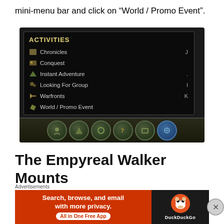mini-menu bar and click on “World / Promo Event”.
[Figure (screenshot): In-game RIFT Activities menu screenshot showing options: Chronicles (J), Conquest, Instant Adventure, Looking For Group (I), Warfronts (K), World / Promo Event. Bottom navigation bar with circular icon buttons visible.]
The Empyreal Walker Mounts
The Empyreal Walker Mounts are also part of the Planar Research Institute’s discoveries. The Promo Week was
[Figure (screenshot): DuckDuckGo advertisement banner: orange left panel reading 'Search, browse, and email with more privacy. All in One Free App' with a white pill button, and dark right panel with DuckDuckGo duck logo and text.]